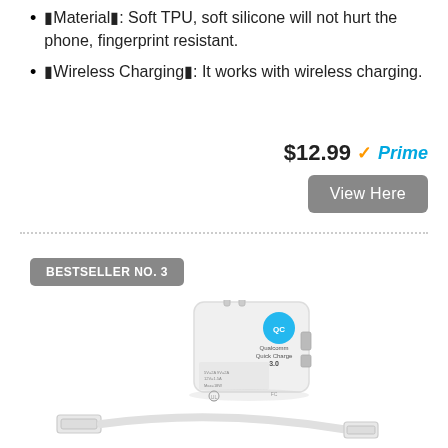🔲Material🔲: Soft TPU, soft silicone will not hurt the phone, fingerprint resistant.
🔲Wireless Charging🔲: It works with wireless charging.
$12.99 ✓Prime
View Here
BESTSELLER NO. 3
[Figure (photo): White USB wall charger with Qualcomm Quick Charge 3.0 branding, featuring two USB ports, alongside a white USB to micro-USB cable.]